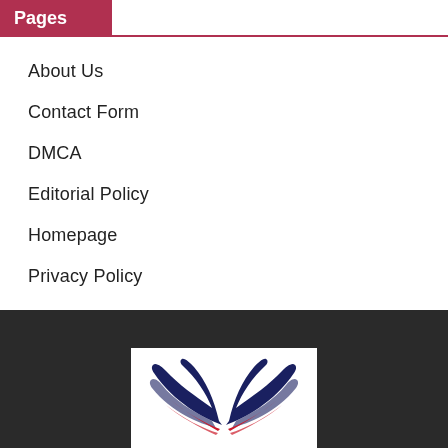Pages
About Us
Contact Form
DMCA
Editorial Policy
Homepage
Privacy Policy
[Figure (logo): Wing/eagle logo with dark navy and red colors on white background]